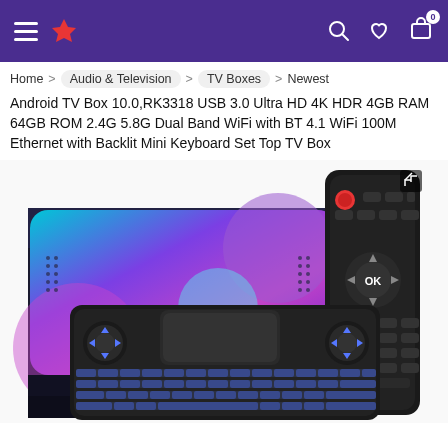Navigation header with hamburger menu, logo, search, wishlist, and cart icons
Home > Audio & Television > TV Boxes > Newest
Android TV Box 10.0,RK3318 USB 3.0 Ultra HD 4K HDR 4GB RAM 64GB ROM 2.4G 5.8G Dual Band WiFi with BT 4.1 WiFi 100M Ethernet with Backlit Mini Keyboard Set Top TV Box
[Figure (photo): Product photo showing X88 PRO 10 Android TV Box with colorful purple/blue/teal design, a remote control, and a backlit mini keyboard]